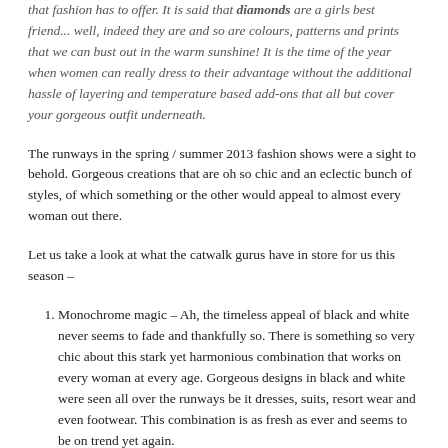that fashion has to offer. It is said that diamonds are a girls best friend... well, indeed they are and so are colours, patterns and prints that we can bust out in the warm sunshine! It is the time of the year when women can really dress to their advantage without the additional hassle of layering and temperature based add-ons that all but cover your gorgeous outfit underneath.
The runways in the spring / summer 2013 fashion shows were a sight to behold. Gorgeous creations that are oh so chic and an eclectic bunch of styles, of which something or the other would appeal to almost every woman out there.
Let us take a look at what the catwalk gurus have in store for us this season –
Monochrome magic – Ah, the timeless appeal of black and white never seems to fade and thankfully so. There is something so very chic about this stark yet harmonious combination that works on every woman at every age. Gorgeous designs in black and white were seen all over the runways be it dresses, suits, resort wear and even footwear. This combination is as fresh as ever and seems to be on trend yet again.